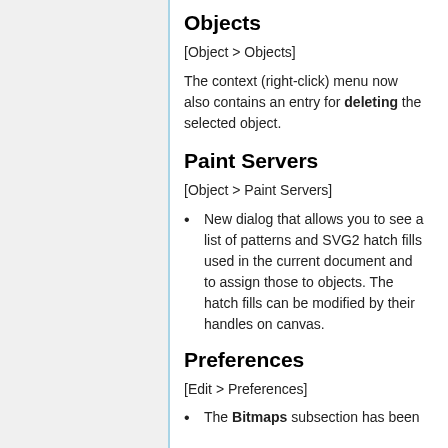Objects
[Object > Objects]
The context (right-click) menu now also contains an entry for deleting the selected object.
Paint Servers
[Object > Paint Servers]
New dialog that allows you to see a list of patterns and SVG2 hatch fills used in the current document and to assign those to objects. The hatch fills can be modified by their handles on canvas.
Preferences
[Edit > Preferences]
The Bitmaps subsection has been